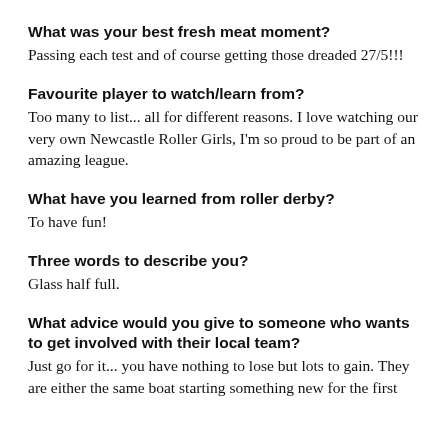What was your best fresh meat moment?
Passing each test and of course getting those dreaded 27/5!!!
Favourite player to watch/learn from?
Too many to list... all for different reasons. I love watching our very own Newcastle Roller Girls, I'm so proud to be part of an amazing league.
What have you learned from roller derby?
To have fun!
Three words to describe you?
Glass half full.
What advice would you give to someone who wants to get involved with their local team?
Just go for it... you have nothing to lose but lots to gain. They are either the same boat starting something new for the first